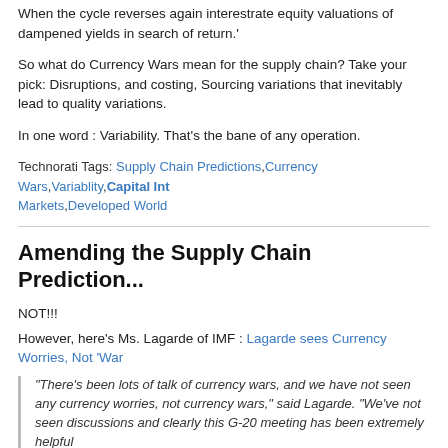When the cycle reverses again interestrate equity valuations of dampened yields in search of return.'
So what do Currency Wars mean for the supply chain? Take your pick: Disruptions, and costing, Sourcing variations that inevitably lead to quality variations.
In one word : Variability. That's the bane of any operation.
Technorati Tags: Supply Chain Predictions, Currency Wars, Variablity, Capital Int Markets, Developed World
Amending the Supply Chain Prediction...
NOT!!!
However, here's Ms. Lagarde of IMF : Lagarde sees Currency Worries, Not 'War
"There's been lots of talk of currency wars, and we have not seen any currency worries, not currency wars," said Lagarde. "We've not seen discussions and clearly this G-20 meeting has been extremely helpful
Lagarde's comments echoed those of the G-20 nations on Saturday, currency war. This has taken the heat off Japan, which has been driven down the yen following the election of Prime Minister Shinzo Ab
We're all diplomats for now. Like I said in my prediction, we'll first take the time to g